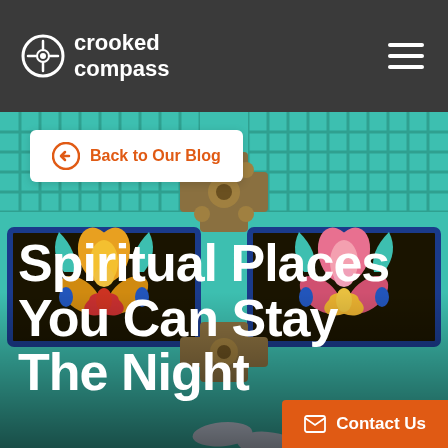crooked compass
Back to Our Blog
[Figure (photo): Decorative turquoise Buddhist temple door with intricate carved lotus flower panels in gold, pink, yellow and blue colors, with ornate bronze hardware fittings]
Spiritual Places You Can Stay The Night
Contact Us